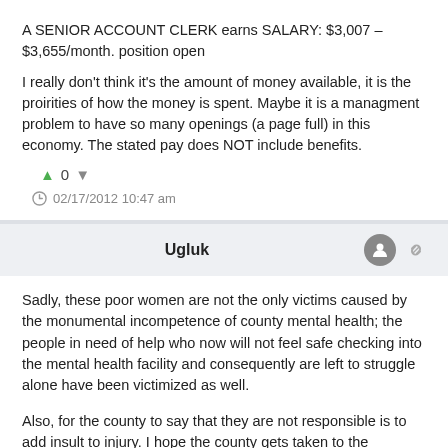A SENIOR ACCOUNT CLERK earns SALARY: $3,007 – $3,655/month. position open
I really don't think it's the amount of money available, it is the proirities of how the money is spent. Maybe it is a managment problem to have so many openings (a page full) in this economy. The stated pay does NOT include benefits.
0
02/17/2012 10:47 am
Ugluk
Sadly, these poor women are not the only victims caused by the monumental incompetence of county mental health; the people in need of help who now will not feel safe checking into the mental health facility and consequently are left to struggle alone have been victimized as well.
Also, for the county to say that they are not responsible is to add insult to injury. I hope the county gets taken to the cleaners financially (yes, I know